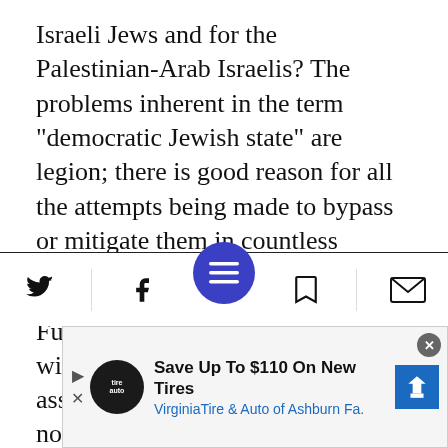Israeli Jews and for the Palestinian-Arab Israelis? The problems inherent in the term "democratic Jewish state" are legion; there is good reason for all the attempts being made to bypass or mitigate them in countless articles and symposia.
Furthermore, the term Jewish state, with its attendant religious association, compels the non-Jewish citizens to emphasize in contradistinction their different religion, Muslim or Christian distinguishing
[Figure (screenshot): Mobile app bottom toolbar with Twitter, Facebook, circular blue menu button, bookmark, and mail icons]
[Figure (screenshot): Advertisement banner: Save Up To $110 On New Tires - VirginiaTire & Auto of Ashburn Fa.]